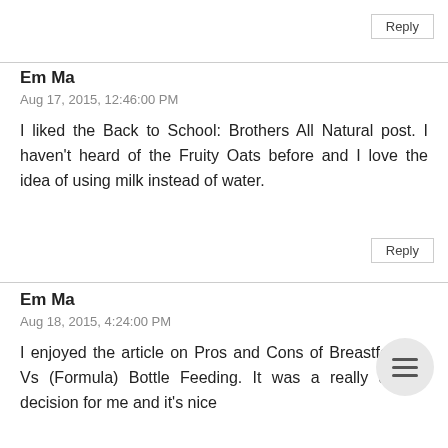Reply
Em Ma
Aug 17, 2015, 12:46:00 PM
I liked the Back to School: Brothers All Natural post. I haven't heard of the Fruity Oats before and I love the idea of using milk instead of water.
Reply
Em Ma
Aug 18, 2015, 4:24:00 PM
I enjoyed the article on Pros and Cons of Breastfeeding Vs (Formula) Bottle Feeding. It was a really difficult decision for me and it's nice